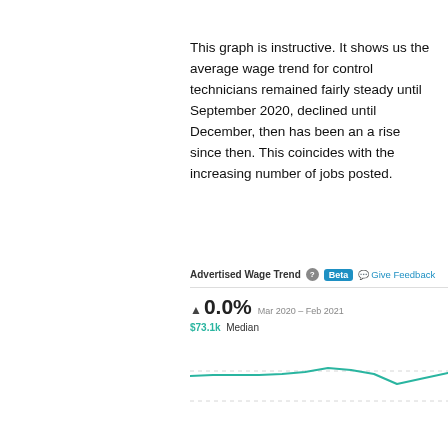This graph is instructive. It shows us the average wage trend for control technicians remained fairly steady until September 2020, declined until December, then has been an a rise since then. This coincides with the increasing number of jobs posted.
[Figure (line-chart): Partial view of an Advertised Wage Trend chart showing a 0.0% change from Mar 2020 – Feb 2021, with a $73.1k Median. The line chart shows a relatively flat trend with a slight peak around Sep 2020, then a decline, then rising again. Chart is cut off on the right side.]